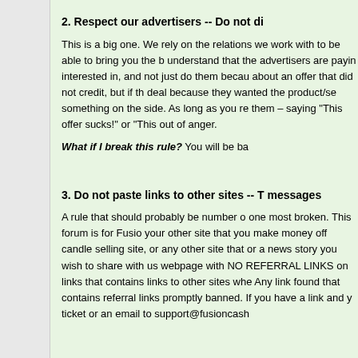2. Respect our advertisers -- Do not di
This is a big one. We rely on the relations we work with to be able to bring you the b understand that the advertisers are payin interested in, and not just do them becau about an offer that did not credit, but if th deal because they wanted the product/se something on the side. As long as you re them – saying "This offer sucks!" or "This out of anger.
What if I break this rule? You will be ba
3. Do not paste links to other sites -- T messages
A rule that should probably be number o one most broken. This forum is for Fusio your other site that you make money off candle selling site, or any other site that or a news story you wish to share with us webpage with NO REFERRAL LINKS on links that contains links to other sites whe Any link found that contains referral links promptly banned. If you have a link and y ticket or an email to support@fusioncash